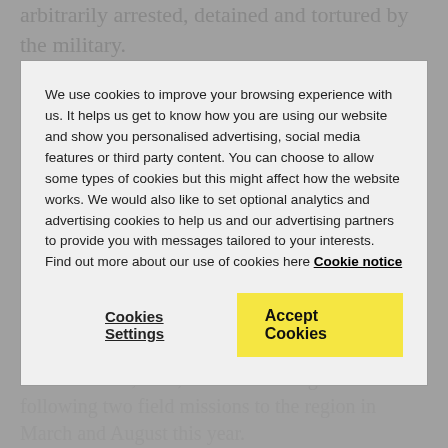arbitrarily arrested, detained and tortured by the military.
It also highlights the abusive tactics used by ethnic armed groups as they confront the military and each other to exert control in the region. The conflicts show no sign of abating, rather they appear to be intensifying.
Amnesty's report shows how crimes and other military violations have been committed against ethnic Kachin, Lisu, Shan and Ta'ang communities following two field missions to the region in March and August this year.
Civilians who spoke to Amnesty repeatedly implicated the military's 99th Light Infantry Division in many of the violations.
We use cookies to improve your browsing experience with us. It helps us get to know how you are using our website and show you personalised advertising, social media features or third party content. You can choose to allow some types of cookies but this might affect how the website works. We would also like to set optional analytics and advertising cookies to help us and our advertising partners to provide you with messages tailored to your interests. Find out more about our use of cookies here Cookie notice
Cookies Settings
Accept Cookies
violations. Soldiers from this division were responsible for some of the worst atrocities against the Rohingya in Rakhine State from August 2017 onwards, as well as in war crimes and other serious violations in northern Myanmar in 2016 and early 2017.